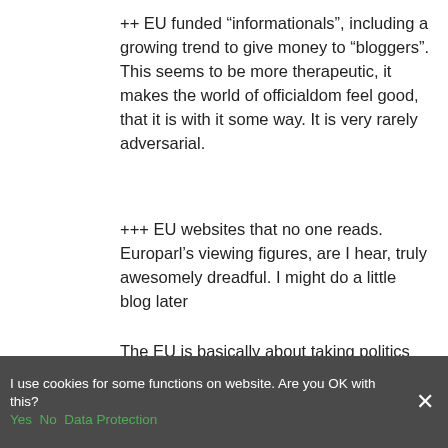++ EU funded “informationals”, including a growing trend to give money to “bloggers”. This seems to be more therapeutic, it makes the world of officialdom feel good, that it is with it some way. It is very rarely adversarial.
+++ EU websites that no one reads. Europarl’s viewing figures, are I hear, truly awesomely dreadful. I might do a little blog later
The EU is basically about taking politics away from the cut and thrust of public contestation – decisions arrive fully formed, sorted out by the “experts” for our passive acceptance.
So efforts to “communicate” the EU are rather one-sided, often sounding like a long-
I use cookies for some functions on website. Are you OK with this? Yes No